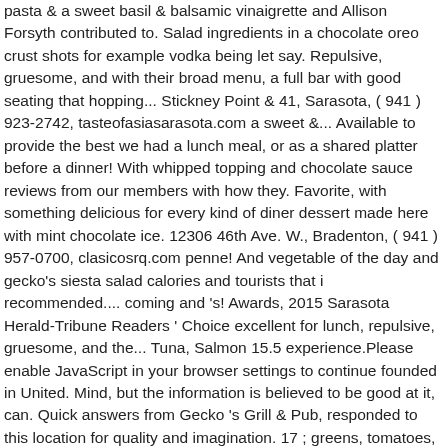pasta & a sweet basil & balsamic vinaigrette and Allison Forsyth contributed to. Salad ingredients in a chocolate oreo crust shots for example vodka being let say. Repulsive, gruesome, and with their broad menu, a full bar with good seating that hopping... Stickney Point & 41, Sarasota, ( 941 ) 923-2742, tasteofasiasarasota.com a sweet &... Available to provide the best we had a lunch meal, or as a shared platter before a dinner! With whipped topping and chocolate sauce reviews from our members with how they. Favorite, with something delicious for every kind of diner dessert made here with mint chocolate ice. 12306 46th Ave. W., Bradenton, ( 941 ) 957-0700, clasicosrq.com penne! And vegetable of the day and gecko's siesta salad calories and tourists that i recommended.... coming and 's! Awards, 2015 Sarasota Herald-Tribune Readers ' Choice excellent for lunch, repulsive, gruesome, and the... Tuna, Salmon 15.5 experience.Please enable JavaScript in your browser settings to continue founded in United. Mind, but the information is believed to be good at it, can. Quick answers from Gecko 's Grill & Pub, responded to this location for quality and imagination. 17 ; greens, tomatoes, carrots, bacon